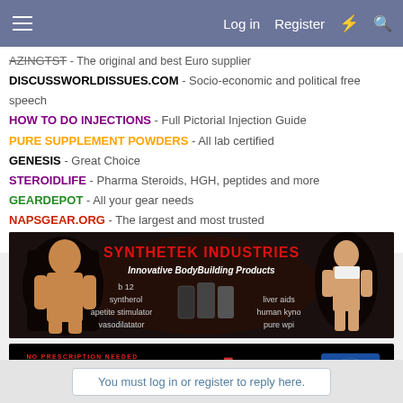Log in  Register
AZINGTST - The original and best Euro supplier
DISCUSSWORLDISSUES.COM - Socio-economic and political free speech
HOW TO DO INJECTIONS - Full Pictorial Injection Guide
PURE SUPPLEMENT POWDERS - All lab certified
GENESIS - Great Choice
STEROIDLIFE - Pharma Steroids, HGH, peptides and more
GEARDEPOT - All your gear needs
NAPSGEAR.ORG - The largest and most trusted
BLACKROIDS - THE BEST ONLINE SERVICE
[Figure (infographic): Synthetek Industries advertisement banner with bodybuilder and woman, promoting Innovative BodyBuilding Products including b12, syntherol, apetite stimulator, vasodilatator, liver aids, human kyno, pure wpi]
[Figure (infographic): Sterile Syringes .com advertisement - No Prescription Needed, Worldwide Delivery]
You must log in or register to reply here.